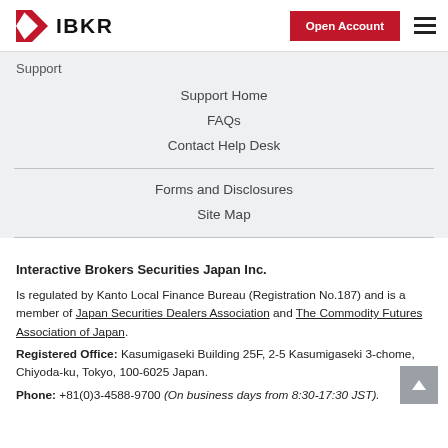IBKR | Open Account
Support
Support Home
FAQs
Contact Help Desk
Forms and Disclosures
Site Map
Interactive Brokers Securities Japan Inc.
Is regulated by Kanto Local Finance Bureau (Registration No.187) and is a member of Japan Securities Dealers Association and The Commodity Futures Association of Japan.
Registered Office: Kasumigaseki Building 25F, 2-5 Kasumigaseki 3-chome, Chiyoda-ku, Tokyo, 100-6025 Japan.
Phone: +81(0)3-4588-9700 (On business days from 8:30-17:30 JST).